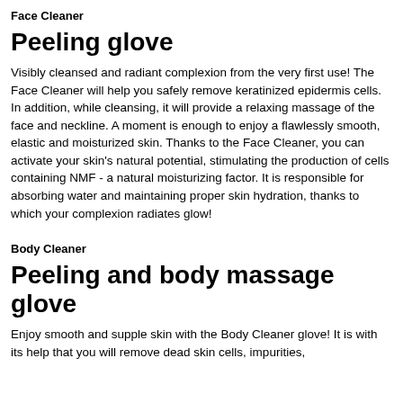Face Cleaner
Peeling glove
Visibly cleansed and radiant complexion from the very first use! The Face Cleaner will help you safely remove keratinized epidermis cells. In addition, while cleansing, it will provide a relaxing massage of the face and neckline. A moment is enough to enjoy a flawlessly smooth, elastic and moisturized skin. Thanks to the Face Cleaner, you can activate your skin's natural potential, stimulating the production of cells containing NMF - a natural moisturizing factor. It is responsible for absorbing water and maintaining proper skin hydration, thanks to which your complexion radiates glow!
Body Cleaner
Peeling and body massage glove
Enjoy smooth and supple skin with the Body Cleaner glove! It is with its help that you will remove dead skin cells, impurities,